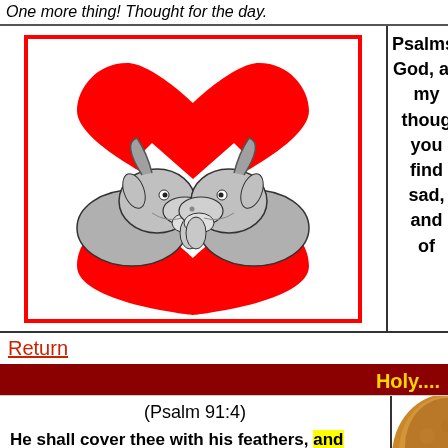One more thing! Thought for the day.
[Figure (illustration): Two goat heads facing each other with red hearts behind them (one heart on top, one below), forming a symmetrical illustration inside a red-bordered box.]
Psalms: God, an my thoug you find sad, and of
Return
Holy....
(Psalm 91:4)
He shall cover thee with his feathers, and under his wings shalt thou trust: his tru